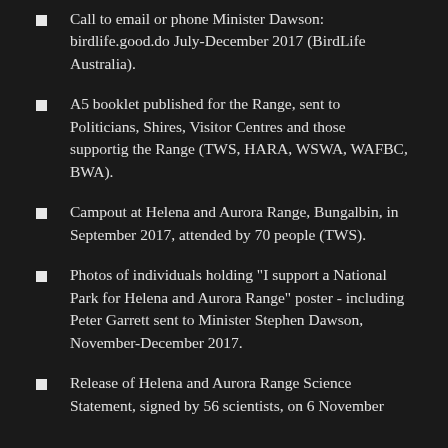Call to email or phone Minister Dawson: birdlife.good.do July-December 2017 (BirdLife Australia).
A5 booklet published for the Range, sent to Politicians, Shires, Visitor Centres and those supportig the Range (TWS, HARA, WSWA, WAFBC, BWA).
Campout at Helena and Aurora Range, Bungalbin, in September 2017, attended by 70 people (TWS).
Photos of individuals holding "I support a National Park for Helena and Aurora Range" poster - including Peter Garrett sent to Minister Stephen Dawson, November-December 2017.
Release of Helena and Aurora Range Science Statement, signed by 56 scientists, on 6 November 2017.